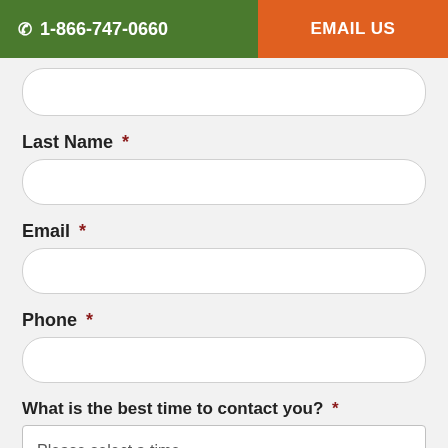☎ 1-866-747-0660   EMAIL US
[First Name input field — top, partially visible]
Last Name *
[Last Name input field]
Email *
[Email input field]
Phone *
[Phone input field]
What is the best time to contact you? *
Please select a time [dropdown]